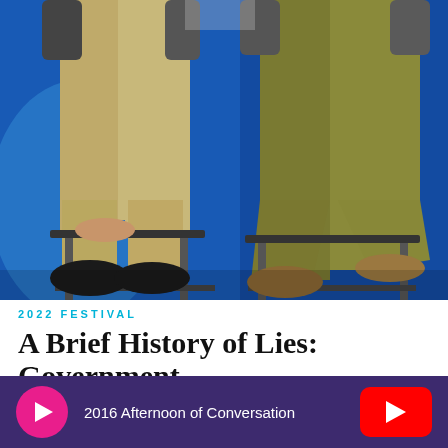[Figure (photo): Two people seated on high stools against a blue background, shown from the torso down. Left person wears khaki pants and black shoes, right person wears olive/khaki pants and brown shoes. Blue stage lighting in background.]
2022 FESTIVAL
A Brief History of Lies: Government
2016 Afternoon of Conversation